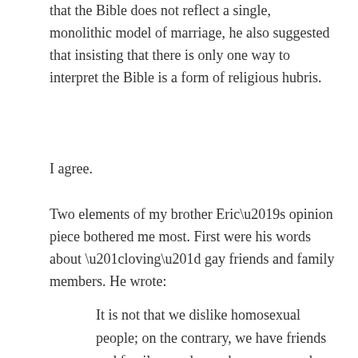that the Bible does not reflect a single, monolithic model of marriage, he also suggested that insisting that there is only one way to interpret the Bible is a form of religious hubris.
I agree.
Two elements of my brother Eric’s opinion piece bothered me most. First were his words about “loving” gay friends and family members. He wrote:
It is not that we dislike homosexual people; on the contrary, we have friends and family members who are gay and we love them, and treat them with the warmth and kindness with which we treat anyone we love. But we cannot support them in their desire to marry.